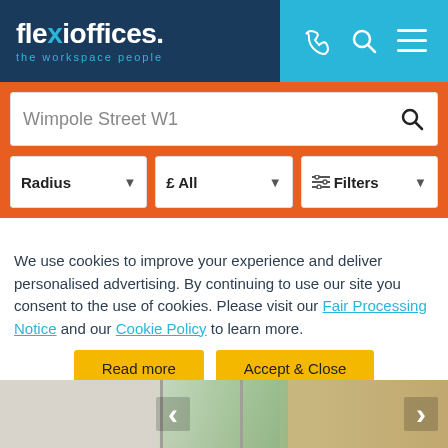[Figure (logo): Flexioffices logo with tagline 'the workspace people' on dark navy background, with cyan/blue header bar containing phone, search, and menu icons]
Wimpole Street W1
Radius
£ All
Filters
We use cookies to improve your experience and deliver personalised advertising. By continuing to use our site you consent to the use of cookies. Please visit our Fair Processing Notice and our Cookie Policy to learn more.
Read more
Accept & Close
[Figure (photo): Interior room photo showing windows with natural light, partially visible at bottom of page]